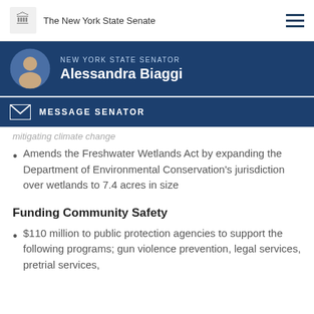The New York State Senate
NEW YORK STATE SENATOR Alessandra Biaggi
MESSAGE SENATOR
Amends the Freshwater Wetlands Act by expanding the Department of Environmental Conservation's jurisdiction over wetlands to 7.4 acres in size
Funding Community Safety
$110 million to public protection agencies to support the following programs; gun violence prevention, legal services, pretrial services,